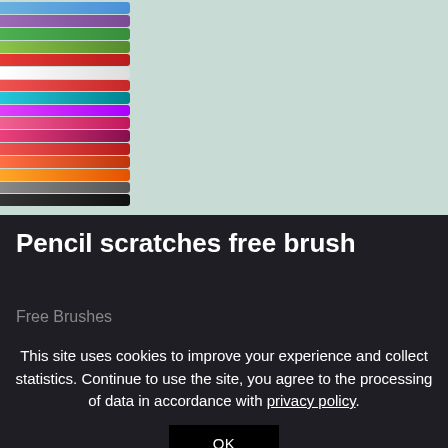[Figure (photo): Photo of colorful pencils lined up on the left side, with a white paper showing pencil scratch marks in various colors on the right, and a tablet device in the top right corner showing stylized text 'SCRATCHES']
Pencil scratches free brush
Free Brushes
This site uses cookies to improve your experience and collect statistics. Continue to use the site, you agree to the processing of data in accordance with privacy policy.
OK